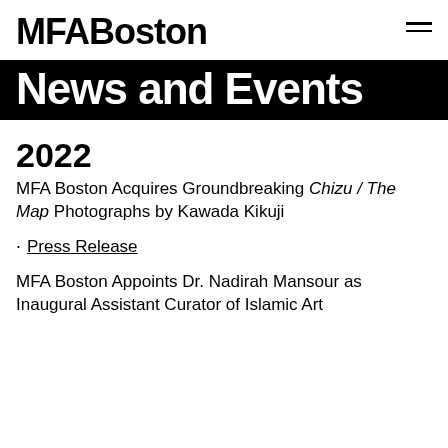MFABoston
News and Events
2022
MFA Boston Acquires Groundbreaking Chizu / The Map Photographs by Kawada Kikuji
Press Release
MFA Boston Appoints Dr. Nadirah Mansour as Inaugural Assistant Curator of Islamic Art